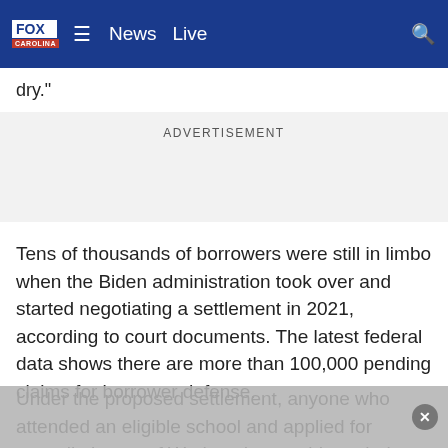FOX CAROLINA  ≡  News  Live  🔍
dry."
ADVERTISEMENT
Tens of thousands of borrowers were still in limbo when the Biden administration took over and started negotiating a settlement in 2021, according to court documents. The latest federal data shows there are more than 100,000 pending claims for borrower defense.
Under the proposed settlement, anyone who attended an eligible school and applied for cancellation as of Wednesday would get their federal student loans and interest fully forgiven. They would also get refunds for past